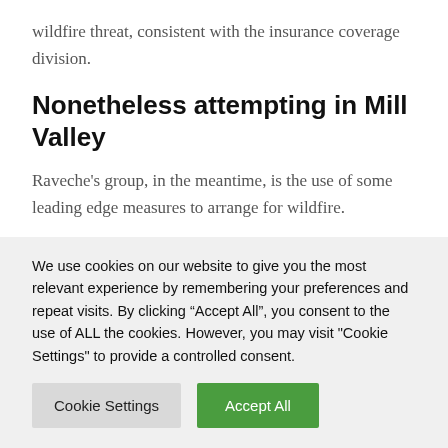wildfire threat, consistent with the insurance coverage division.
Nonetheless attempting in Mill Valley
Raveche’s group, in the meantime, is the use of some leading edge measures to arrange for wildfire.
Greater than 250 Mill Valley citizens piled into their vehicles to simulate an evacuation, with Google
We use cookies on our website to give you the most relevant experience by remembering your preferences and repeat visits. By clicking “Accept All”, you consent to the use of ALL the cookies. However, you may visit "Cookie Settings" to provide a controlled consent.
Cookie Settings
Accept All